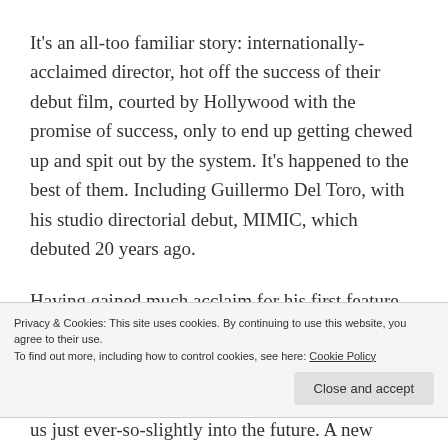It's an all-too familiar story: internationally-acclaimed director, hot off the success of their debut film, courted by Hollywood with the promise of success, only to end up getting chewed up and spit out by the system. It's happened to the best of them. Including Guillermo Del Toro, with his studio directorial debut, MIMIC, which debuted 20 years ago.
Having gained much acclaim for his first feature, CRONOS, Del Toro was approached by The Weinstein Brothers to contribute a segment for a planned sci-fi
Privacy & Cookies: This site uses cookies. By continuing to use this website, you agree to their use.
To find out more, including how to control cookies, see here: Cookie Policy
us just ever-so-slightly into the future. A new plague has